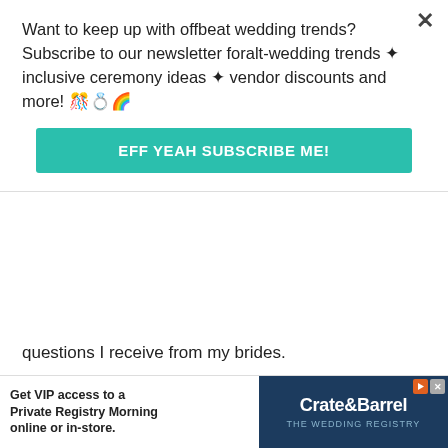Want to keep up with offbeat wedding trends?Subscribe to our newsletter for alt-wedding trends & inclusive ceremony ideas & vendor discounts and more! 🎉💍🌈
EFF YEAH SUBSCRIBE ME!
questions I receive from my brides.
Sheri says:
Apr 19, 2011 at 11:38 am
Hi guys, well we're christian and we found the unity cross ceremony appealed to both of us. The site defines the different parts as being female and male but I disagreed so I think of pretty and we r
[Figure (screenshot): Advertisement banner: Get VIP access to a Private Registry Morning online or in-store. Crate&Barrel THE WEDDING REGISTRY]